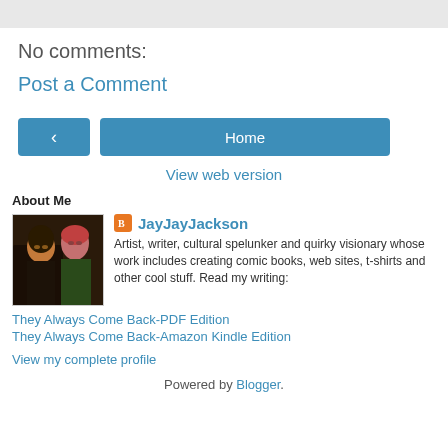No comments:
Post a Comment
Home
View web version
About Me
[Figure (photo): Profile photo of two people]
JayJayJackson
Artist, writer, cultural spelunker and quirky visionary whose work includes creating comic books, web sites, t-shirts and other cool stuff. Read my writing:
They Always Come Back-PDF Edition
They Always Come Back-Amazon Kindle Edition
View my complete profile
Powered by Blogger.